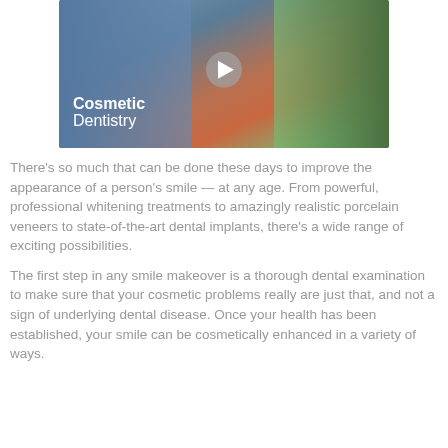[Figure (photo): Video thumbnail showing a woman smiling at an outdoor setting, with 'Cosmetic Dentistry' text overlay and a play button in the center.]
There's so much that can be done these days to improve the appearance of a person's smile — at any age. From powerful, professional whitening treatments to amazingly realistic porcelain veneers to state-of-the-art dental implants, there's a wide range of exciting possibilities.
The first step in any smile makeover is a thorough dental examination to make sure that your cosmetic problems really are just that, and not a sign of underlying dental disease. Once your health has been established, your smile can be cosmetically enhanced in a variety of ways.